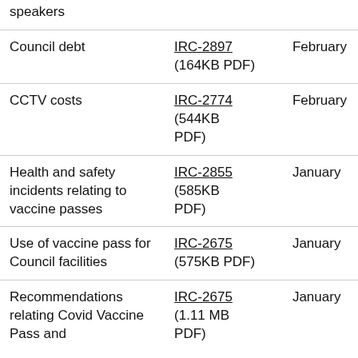| speakers |  |  |
| Council debt | IRC-2897 (164KB PDF) | February |
| CCTV costs | IRC-2774 (544KB PDF) | February |
| Health and safety incidents relating to vaccine passes | IRC-2855 (585KB PDF) | January |
| Use of vaccine pass for Council facilities | IRC-2675 (575KB PDF) | January |
| Recommendations relating Covid Vaccine Pass and | IRC-2675 (1.11 MB PDF) | January |